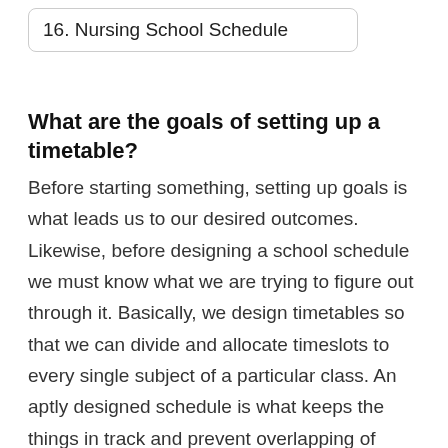16. Nursing School Schedule
What are the goals of setting up a timetable?
Before starting something, setting up goals is what leads us to our desired outcomes. Likewise, before designing a school schedule we must know what we are trying to figure out through it. Basically, we design timetables so that we can divide and allocate timeslots to every single subject of a particular class. An aptly designed schedule is what keeps the things in track and prevent overlapping of events. Setting up goals and what you want to mention in timetable helps us choosing the right template as we can reckon how many rows and columns it should have, thus, making it easy for us to decide